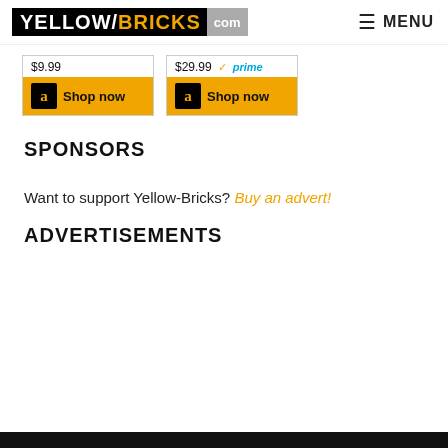YELLOW/BRICKS .com  ☰ MENU
[Figure (other): Two Amazon product listing tiles showing prices $9.99 and $29.99 with Prime badge and Shop now buttons]
SPONSORS
Want to support Yellow-Bricks? Buy an advert!
ADVERTISEMENTS